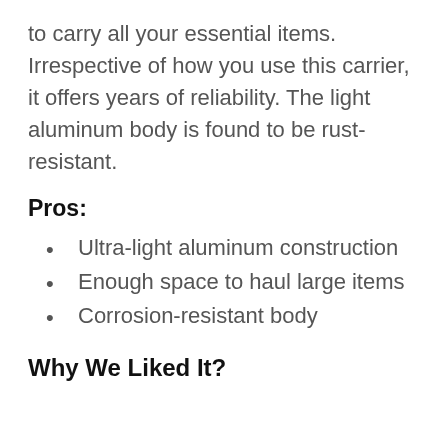to carry all your essential items. Irrespective of how you use this carrier, it offers years of reliability. The light aluminum body is found to be rust-resistant.
Pros:
Ultra-light aluminum construction
Enough space to haul large items
Corrosion-resistant body
Why We Liked It?